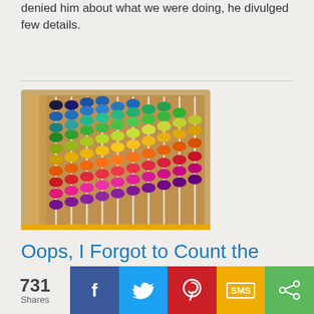denied him about what we were doing, he divulged few details.
[Figure (photo): Colorful abacus with rainbow-colored beads on wooden frame, photographed from an angle on a wooden surface.]
Oops, I Forgot to Count the Omer!
What to do? Give up? Sigh and think, “I’m a bad Jew”? Never!
731 Shares | Facebook | Twitter | Pinterest | SMS | Share